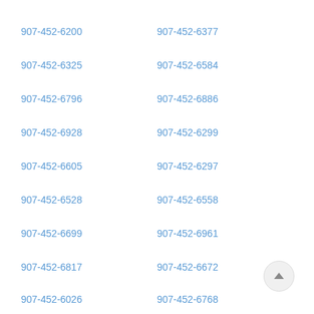907-452-6200
907-452-6377
907-452-6325
907-452-6584
907-452-6796
907-452-6886
907-452-6928
907-452-6299
907-452-6605
907-452-6297
907-452-6528
907-452-6558
907-452-6699
907-452-6961
907-452-6817
907-452-6672
907-452-6026
907-452-6768